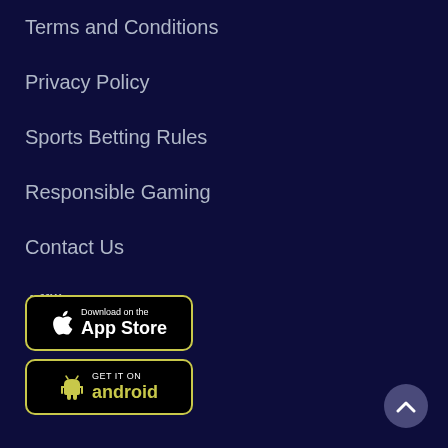Terms and Conditions
Privacy Policy
Sports Betting Rules
Responsible Gaming
Contact Us
Affiliates
[Figure (screenshot): Download on the App Store button - black button with Apple logo and text 'Download on the App Store']
[Figure (screenshot): GET IT ON android button - black button with Android robot logo and yellow-green 'android' text]
[Figure (other): Scroll to top button - circular purple button with white chevron pointing up]